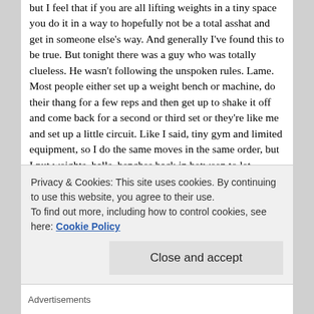but I feel that if you are all lifting weights in a tiny space you do it in a way to hopefully not be a total asshat and get in someone else's way. And generally I've found this to be true. But tonight there was a guy who was totally clueless. He wasn't following the unspoken rules. Lame. Most people either set up a weight bench or machine, do their thang for a few reps and then get up to shake it off and come back for a second or third set or they're like me and set up a little circuit. Like I said, tiny gym and limited equipment, so I do the same moves in the same order, but I put weights, balls, benches back in between to let someone else use them while I'm doing the rest of the circuit. This one guy was bouncing all around, not really committed to any one thing. And any weight lifting he was doing was either a) useless or b) likely to hurt himself. I'm no expert, but I'm positive that swinging a 5 lb weight around like a free spirit and all la-di-da about it is going to
Privacy & Cookies: This site uses cookies. By continuing to use this website, you agree to their use.
To find out more, including how to control cookies, see here: Cookie Policy
Close and accept
Advertisements